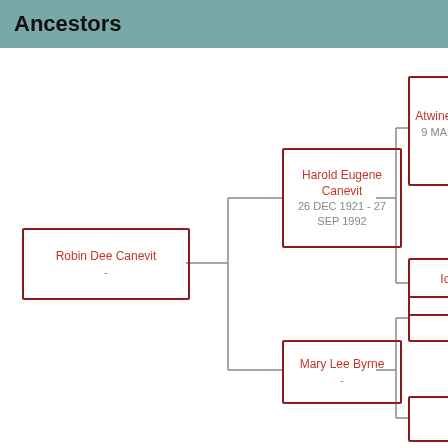Ancestors
[Figure (organizational-chart): Ancestors genealogy chart showing Robin Dee Canevit and ancestors. Robin Dee Canevit (-) connects to Harold Eugene Canevit (26 DEC 1921 - 27 SEP 1992) and Mary Lee Byrne (-). Harold Eugene Canevit connects to Atwine Henry Canevit (9 MAR 1895 - 1 OCT 1975) and Iona Rambo (-). Mary Lee Byrne connects to two unknown persons marked with ?.]